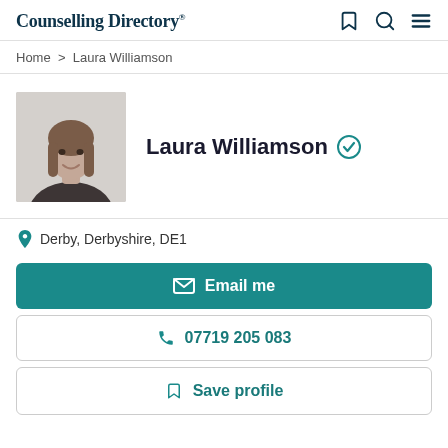Counselling Directory
Home > Laura Williamson
[Figure (photo): Profile photo of Laura Williamson, a woman with long brown hair, smiling, against a light background]
Laura Williamson (verified)
Derby, Derbyshire, DE1
Email me
07719 205 083
Save profile